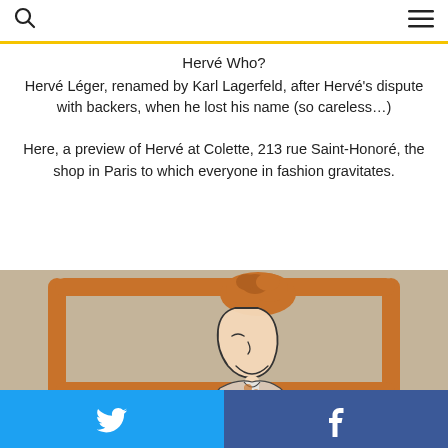search icon | menu icon
Hervé Who?
Hervé Léger, renamed by Karl Lagerfeld, after Hervé's dispute with backers, when he lost his name (so careless…)
Here, a preview of Hervé at Colette, 213 rue Saint-Honoré, the shop in Paris to which everyone in fashion gravitates.
[Figure (illustration): Line drawing illustration of a fashion figure (woman's face and upper body), framed by an orange/brown pretzel-stick frame, on a grey-beige background.]
Twitter share button | Facebook share button